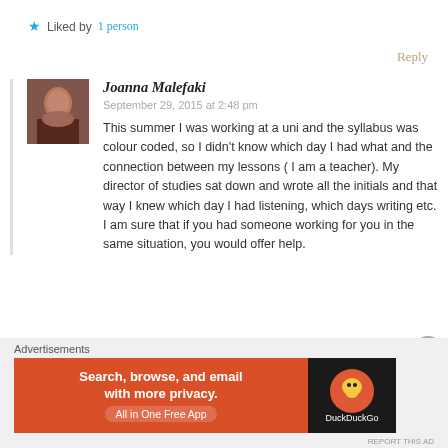★ Liked by 1person
Reply
Joanna Malefaki
September 29, 2015 at 2:48 pm
This summer I was working at a uni and the syllabus was colour coded, so I didn't know which day I had what and the connection between my lessons ( I am a teacher). My director of studies sat down and wrote all the initials and that way I knew which day I had listening, which days writing etc. I am sure that if you had someone working for you in the same situation, you would offer help.
Advertisements
[Figure (screenshot): DuckDuckGo advertisement banner: orange left panel with text 'Search, browse, and email with more privacy. All in One Free App', dark right panel with DuckDuckGo duck logo and brand name.]